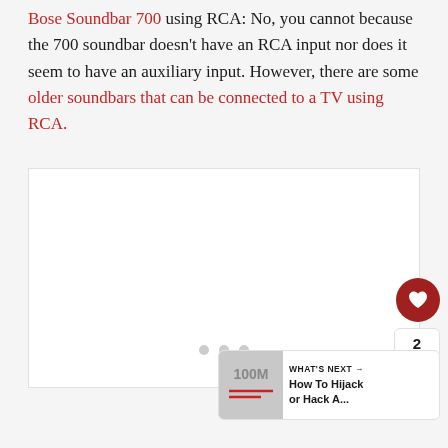Bose Soundbar 700 using RCA: No, you cannot because the 700 soundbar doesn't have an RCA input nor does it seem to have an auxiliary input. However, there are some older soundbars that can be connected to a TV using RCA.
[Figure (other): Large white content placeholder box with three grey dots (carousel indicators) centered inside it, and a red heart/like button, a count of 2, and a share button on the right side. A 'What's Next' widget appears at the bottom right showing a How To Hijack or Hack A... article preview.]